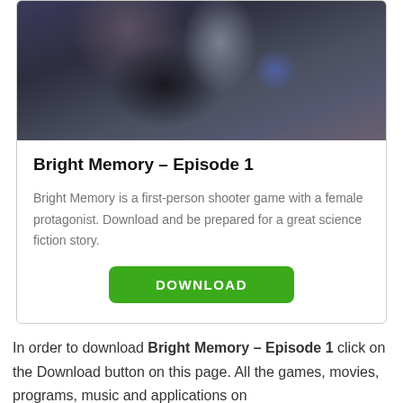[Figure (screenshot): Dark sci-fi screenshot from Bright Memory – Episode 1 showing a female character in combat armor]
Bright Memory – Episode 1
Bright Memory is a first-person shooter game with a female protagonist. Download and be prepared for a great science fiction story.
DOWNLOAD
In order to download Bright Memory – Episode 1 click on the Download button on this page. All the games, movies, programs, music and applications on